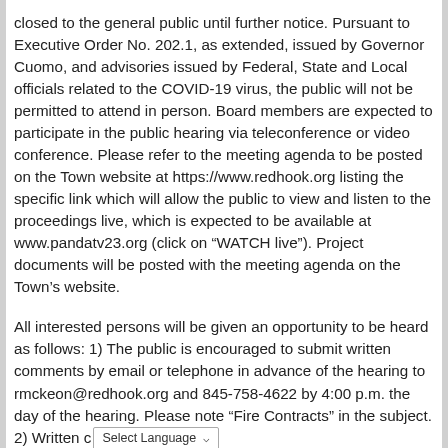closed to the general public until further notice. Pursuant to Executive Order No. 202.1, as extended, issued by Governor Cuomo, and advisories issued by Federal, State and Local officials related to the COVID-19 virus, the public will not be permitted to attend in person. Board members are expected to participate in the public hearing via teleconference or video conference. Please refer to the meeting agenda to be posted on the Town website at https://www.redhook.org listing the specific link which will allow the public to view and listen to the proceedings live, which is expected to be available at www.pandatv23.org (click on “WATCH live”). Project documents will be posted with the meeting agenda on the Town’s website.
All interested persons will be given an opportunity to be heard as follows: 1) The public is encouraged to submit written comments by email or telephone in advance of the hearing to rmckeon@redhook.org and 845-758-4622 by 4:00 p.m. the day of the hearing. Please note “Fire Contracts” in the subject. 2) Written c[Select Language] dropped in the Town’s drop box in advance of the[Powered by Google Translate]